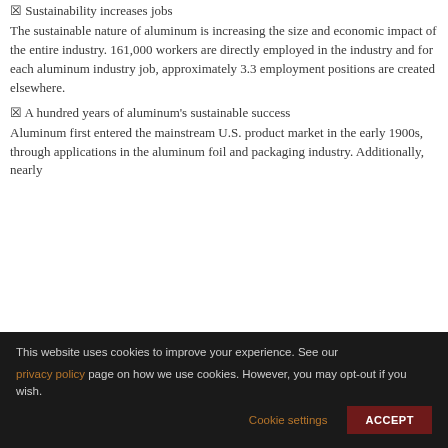✦ Sustainability increases jobs
The sustainable nature of aluminum is increasing the size and economic impact of the entire industry. 161,000 workers are directly employed in the industry and for each aluminum industry job, approximately 3.3 employment positions are created elsewhere.
✦ A hundred years of aluminum's sustainable success
Aluminum first entered the mainstream U.S. product market in the early 1900s, through applications in the aluminum foil and packaging industry. Additionally, nearly
This website uses cookies to improve your experience. See our privacy policy page on how we use cookies. However, you may opt-out if you wish. Cookie settings ACCEPT